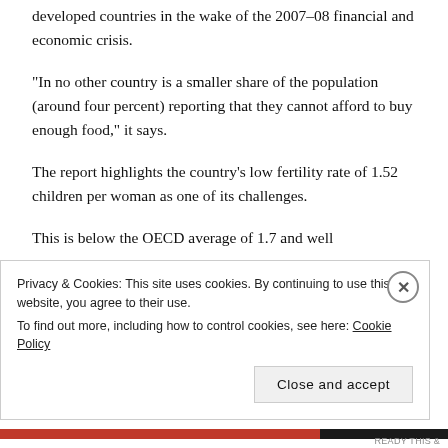developed countries in the wake of the 2007-08 financial and economic crisis.
"In no other country is a smaller share of the population (around four percent) reporting that they cannot afford to buy enough food," it says.
The report highlights the country's low fertility rate of 1.52 children per woman as one of its challenges.
This is below the OECD average of 1.7 and well
Privacy & Cookies: This site uses cookies. By continuing to use this website, you agree to their use.
To find out more, including how to control cookies, see here: Cookie Policy
Close and accept